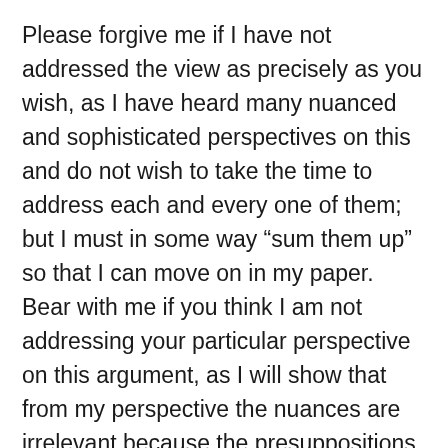Please forgive me if I have not addressed the view as precisely as you wish, as I have heard many nuanced and sophisticated perspectives on this and do not wish to take the time to address each and every one of them; but I must in some way “sum them up” so that I can move on in my paper. Bear with me if you think I am not addressing your particular perspective on this argument, as I will show that from my perspective the nuances are irrelevant because the presuppositions of the entire argument are not completely accurate. It is not that I just do not believe in God, and so I therefore “interpret” the world through an anti-God bias, it is that I believe there is a better and more comprehensive explanation of all morality found among men than that our morality comes from God. You are allowed to be quite skeptical. Quite honestly, I encourage